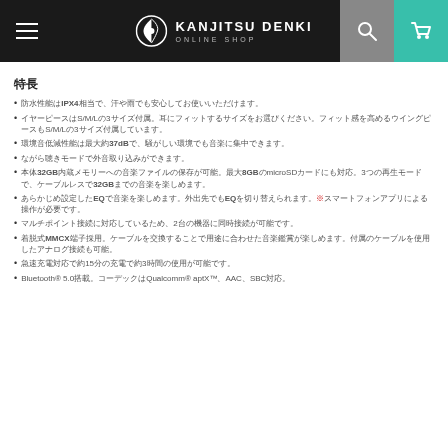KANJITSU DENKI ONLINE SHOP
特長
防水性能はIPX4相当で、汗や雨でも安心してお使いいただけます。
イヤーピースはS/M/Lの3サイズ付属。耳にフィットするサイズをお選びください。フィット感を高めるウイングピースもS/M/Lの3サイズ付属しています。
環境音低減性能は最大約37dBで、騒がしい環境でも音楽に集中できます。
ながら聴きモードで外音取り込みができます。
本体32GB内蔵メモリーへの音楽ファイルの保存が可能。最大8GBのmicroSDカードにも対応。3つの再生モードで、ケーブルレスで32GBまでの音楽を楽しめます。
あらかじめ設定したEQで音楽を楽しめます。外出先でもEQを切り替えられます。※スマートフォンアプリによる操作が必要です。
マルチポイント接続に対応しているため、2台の機器に同時接続が可能です。
着脱式MMCX端子採用。ケーブルを交換することで用途に合わせた音楽鑑賞が楽しめます。付属のケーブルを使用したアナログ接続も可能。
急速充電対応で約15分の充電で約3時間の使用が可能です。
Bluetooth® 5.0搭載。コーデックはQualcomm® aptX™、AAC、SBC対応。